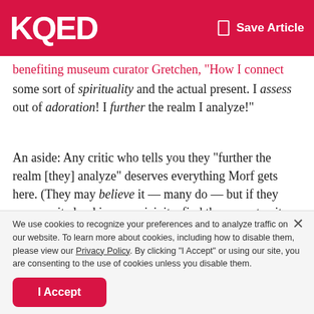KQED | Save Article
benefiting museum curator Gretchen, "How I connect with some sort of spirituality and the actual present. I assess out of adoration! I further the realm I analyze!"
An aside: Any critic who tells you they "further the realm [they] analyze" deserves everything Morf gets here. (They may believe it — many do — but if they ever say it aloud in your vicinity, find the nearest exit and get as far away from the building as possible.)
We use cookies to recognize your preferences and to analyze traffic on our website. To learn more about cookies, including how to disable them, please view our Privacy Policy. By clicking "I Accept" or using our site, you are consenting to the use of cookies unless you disable them.